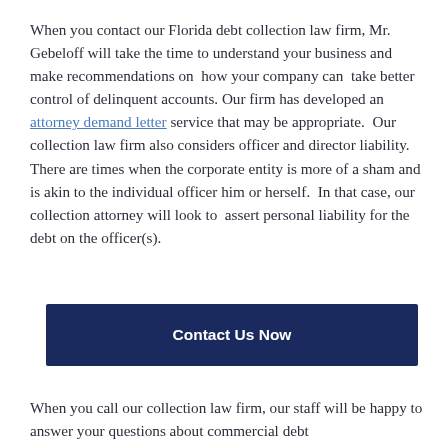When you contact our Florida debt collection law firm, Mr. Gebeloff will take the time to understand your business and make recommendations on  how your company can  take better control of delinquent accounts. Our firm has developed an attorney demand letter service that may be appropriate.  Our collection law firm also considers officer and director liability. There are times when the corporate entity is more of a sham and is akin to the individual officer him or herself.  In that case, our collection attorney will look to  assert personal liability for the debt on the officer(s).
Contact Us Now
When you call our collection law firm, our staff will be happy to answer your questions about commercial debt